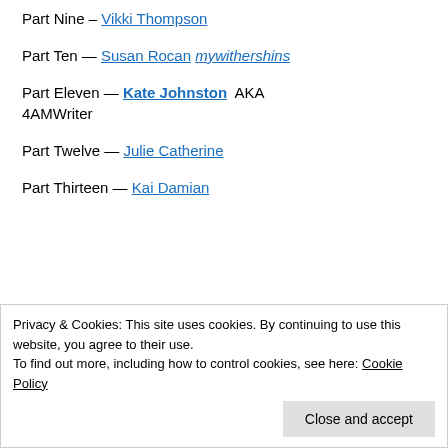Part Nine – Vikki Thompson
Part Ten — Susan Rocan mywithershins
Part Eleven — Kate Johnston AKA 4AMWriter
Part Twelve — Julie Catherine
Part Thirteen — Kai Damian
Privacy & Cookies: This site uses cookies. By continuing to use this website, you agree to their use. To find out more, including how to control cookies, see here: Cookie Policy
Close and accept